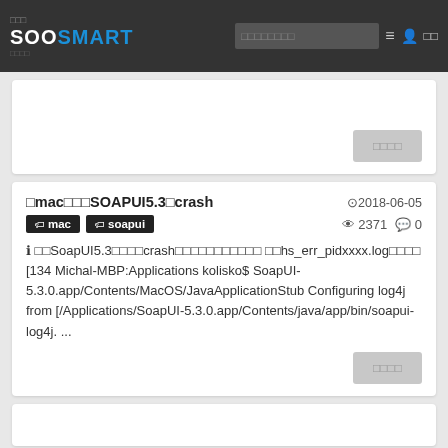SOOSMART
[Figure (screenshot): First content card with gray button]
在mac上安装SOAPUI5.3后crash  ⊙2018-06-05  mac  soapui  👁 2371 💬 0  在SoapUI5.3安装以后打开就crash，错误日志如下 hs_err_pidxxxx.log内容如下 [134 Michal-MBP:Applications kolisko$ SoapUI-5.3.0.app/Contents/MacOS/JavaApplicationStub Configuring log4j from [/Applications/SoapUI-5.3.0.app/Contents/java/app/bin/soapui-log4j. ...
[Figure (screenshot): Bottom of second card with gray button]
[Figure (screenshot): Third card stub at bottom]